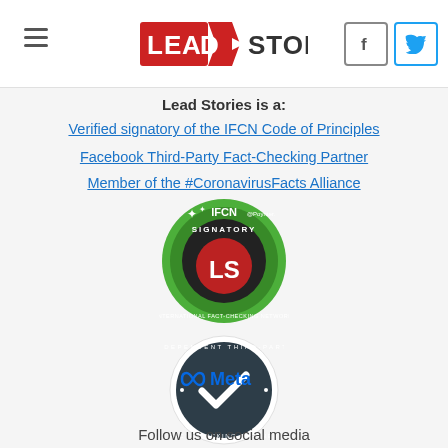Lead Stories header with logo, hamburger menu, Facebook and Twitter icons
Lead Stories is a:
Verified signatory of the IFCN Code of Principles
Facebook Third-Party Fact-Checking Partner
Member of the #CoronavirusFacts Alliance
[Figure (logo): IFCN Signatory badge - green circular badge with Lead Stories LS logo and text 'INTERNATIONAL FACT-CHECKING NETWORK SIGNATORY']
[Figure (logo): Meta Independent Third-Party Fact-Checking Partner circular dark badge with checkmark and Meta logo]
Follow us on social media